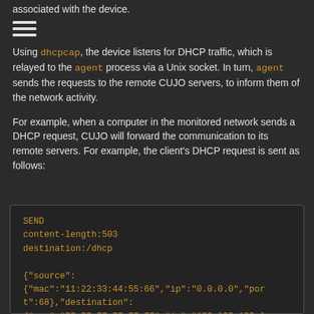associated with the device.
[Figure (other): Hamburger menu icon (three horizontal lines)]
Using dhcpcap, the device listens for DHCP traffic, which is relayed to the agent process via a Unix socket. In turn, agent sends the requests to the remote CUJO servers, to inform them of the network activity.
For example, when a computer in the monitored network sends a DHCP request, CUJO will forward the communication to its remote servers. For example, the client's DHCP request is sent as follows:
SEND
content-length:503
destination:/dhcp

{"source":
{"mac":"11:22:33:44:55:66","ip":"0.0.0.0","por
t":68},"destination":
{"mac":"FF:FF:FF:FF:FF:FF","ip":"255.255.255.2